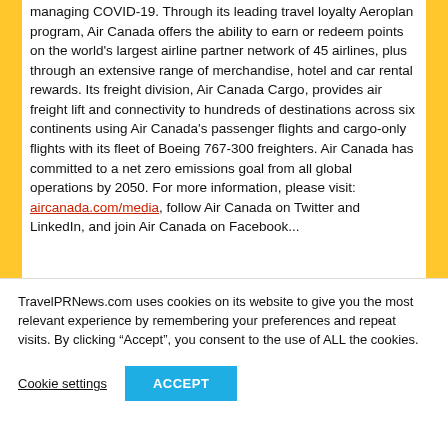managing COVID-19. Through its leading travel loyalty Aeroplan program, Air Canada offers the ability to earn or redeem points on the world's largest airline partner network of 45 airlines, plus through an extensive range of merchandise, hotel and car rental rewards. Its freight division, Air Canada Cargo, provides air freight lift and connectivity to hundreds of destinations across six continents using Air Canada's passenger flights and cargo-only flights with its fleet of Boeing 767-300 freighters. Air Canada has committed to a net zero emissions goal from all global operations by 2050. For more information, please visit: aircanada.com/media, follow Air Canada on Twitter and LinkedIn, and join Air Canada on Facebook...
TravelPRNews.com uses cookies on its website to give you the most relevant experience by remembering your preferences and repeat visits. By clicking “Accept”, you consent to the use of ALL the cookies.
Cookie settings
ACCEPT